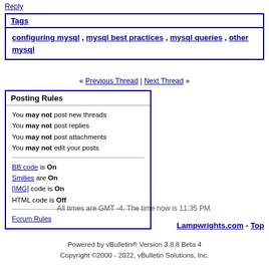Reply
| Tags |
| --- |
| configuring mysql , mysql best practices , mysql queries , other mysql |
« Previous Thread | Next Thread »
| Posting Rules |
| --- |
| You may not post new threads |
| You may not post replies |
| You may not post attachments |
| You may not edit your posts |
| BB code is On |
| Smilies are On |
| [IMG] code is On |
| HTML code is Off |
| Forum Rules |
All times are GMT -4. The time now is 11:35 PM.
Lampwrights.com - Top
Powered by vBulletin® Version 3.8.8 Beta 4
Copyright ©2000 - 2022, vBulletin Solutions, Inc.